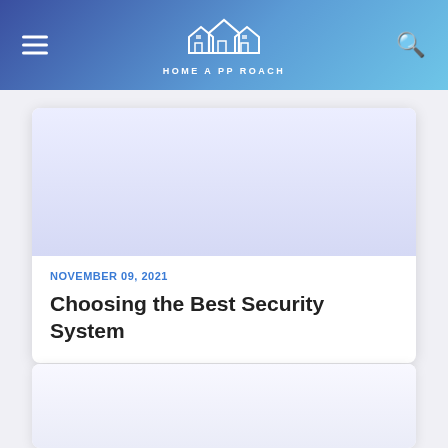HOME A PP ROACH
[Figure (screenshot): Light blue/lavender card image placeholder area]
NOVEMBER 09, 2021
Choosing the Best Security System
[Figure (screenshot): Second card image placeholder area, white/light lavender]